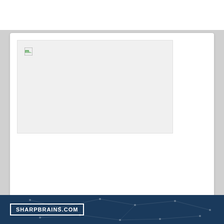[Figure (other): Broken image placeholder with gray background representing an article header image]
5 Things I Wish I Knew Before Starting On Accutane
Isotretinoin (aka Accutane) has often been called a “miracle drug”: it promises to permanently cure you of acne in just a few months, and—for
[Figure (other): SHARPBRAINS.COM advertisement banner with dark blue network/neural network background]